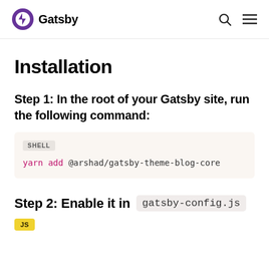Gatsby
Installation
Step 1: In the root of your Gatsby site, run the following command:
SHELL
yarn add @arshad/gatsby-theme-blog-core
Step 2: Enable it in gatsby-config.js
JS